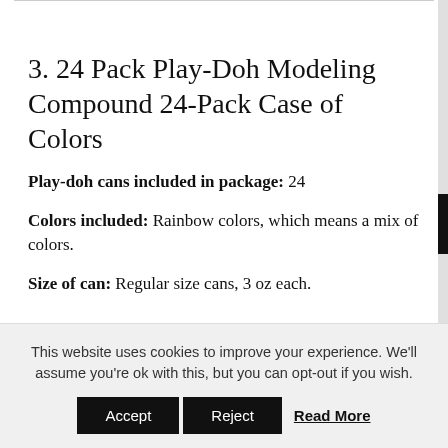3. 24 Pack Play-Doh Modeling Compound 24-Pack Case of Colors
Play-doh cans included in package: 24
Colors included: Rainbow colors, which means a mix of colors.
Size of can: Regular size cans, 3 oz each.
This website uses cookies to improve your experience. We'll assume you're ok with this, but you can opt-out if you wish.